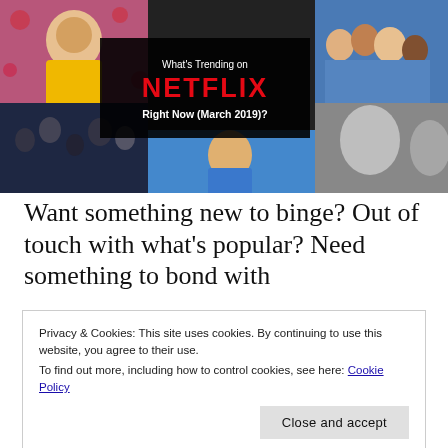[Figure (photo): Composite hero image showing Netflix trending shows collage with overlay text 'What's Trending on NETFLIX Right Now (March 2019)?']
Want something new to binge? Out of touch with what's popular? Need something to bond with
Privacy & Cookies: This site uses cookies. By continuing to use this website, you agree to their use.
To find out more, including how to control cookies, see here: Cookie Policy